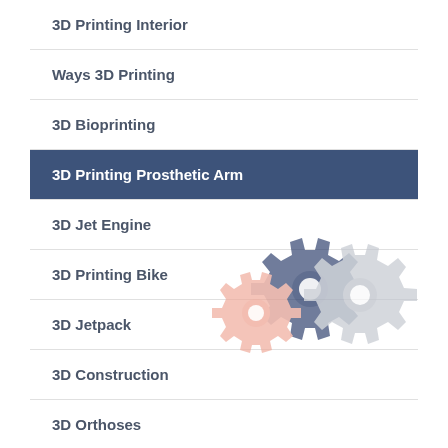3D Printing Interior
Ways 3D Printing
3D Bioprinting
3D Printing Prosthetic Arm
3D Jet Engine
3D Printing Bike
3D Jetpack
3D Construction
3D Orthoses
[Figure (illustration): Two overlapping gear icons: a smaller peach/salmon colored gear in front-left and a larger dark navy gear behind it with a light gray gear overlapping to the right, decorative background element]